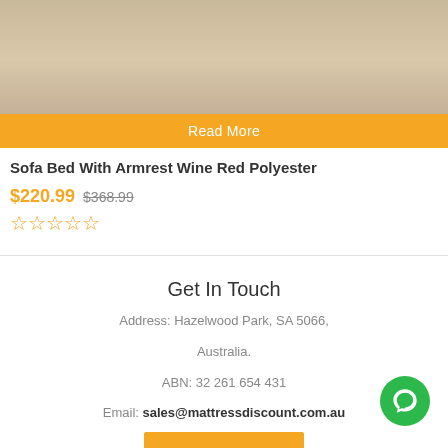[Figure (photo): Product image of a sofa bed with wooden floor background, partially visible]
Read More
Sofa Bed With Armrest Wine Red Polyester
$220.99  $368.99
☆☆☆☆☆
Get In Touch
Address: Hazelwood Park, SA 5066,
Australia.
ABN: 32 261 654 431
Email: sales@mattressdiscount.com.au